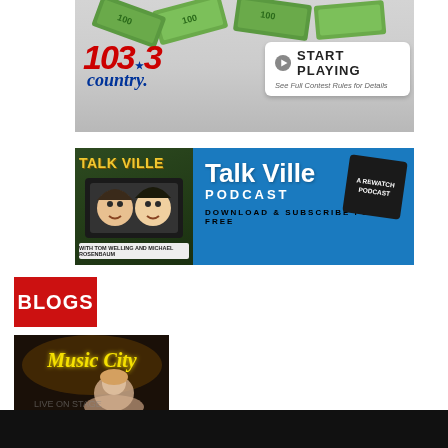[Figure (illustration): 103.3 Country radio station advertisement banner with money bills graphic, red stylized 103.3 logo with star, 'country.' text in navy blue, and a white pill button with 'START PLAYING' text and small play icon, plus 'See Full Contest Rules for Details' text]
[Figure (illustration): Talk Ville Podcast advertisement banner with illustrated hosts on left green panel, blue right panel with 'Talk Ville PODCAST' text in white, 'A REWATCH PODCAST' badge, and 'DOWNLOAD & SUBSCRIBE FOR FREE' text]
BLOGS
[Figure (photo): Music City promotional photo showing illuminated 'Music City' sign text and a person partially visible]